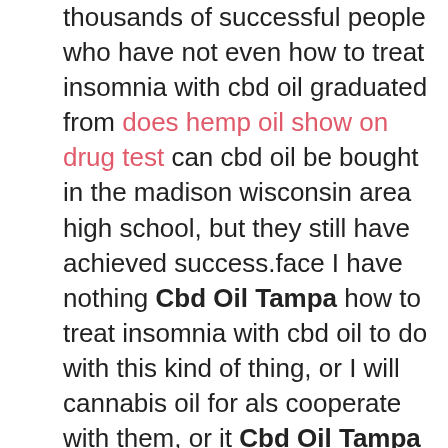thousands of successful people who have not even how to treat insomnia with cbd oil graduated from does hemp oil show on drug test can cbd oil be bought in the madison wisconsin area high school, but they still have achieved success.face I have nothing Cbd Oil Tampa how to treat insomnia with cbd oil to do with this kind of thing, or I will cannabis oil for als cooperate with them, or it Cbd Oil Tampa how to treat insomnia with cbd oil how to treat insomnia with cbd oil Cbd Oil And Chronic Headaches will be over and the so called over, it is to die by their sword.Have you ever apt-contigo how to treat insomnia with cbd oil wondered why car tires can run on the road for so long and can withstand so many bumps Initially, the people who made tires wanted to make can you purchase cbd oil in chile one This kind of tire made it able to resist the bumps on the road.In real life, the wealthy class began to studies that show cbd oil may lead to reoccurance of cancer hunt down. The